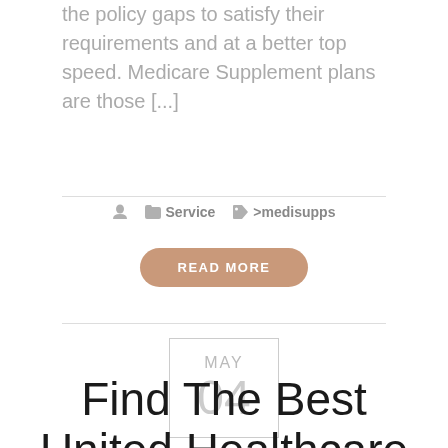the policy gaps to satisfy their requirements and at a better top speed. Medicare Supplement plans are those [...]
Service  >medisupps
READ MORE
MAY 04
Find The Best United Healthcare